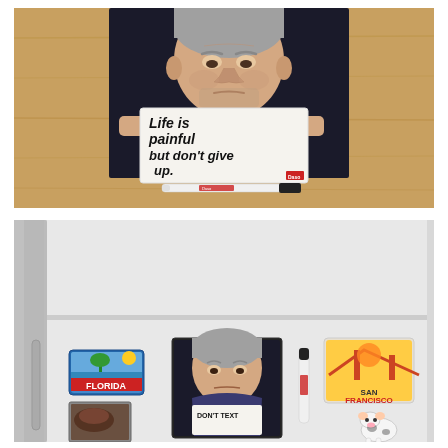[Figure (photo): An elderly man with grey hair holding a white sign that reads 'Life is painful but don't give up.' with a red logo in the corner. A dry-erase marker lies in front of the photo on a wooden surface.]
[Figure (photo): A white refrigerator with various magnets including a Florida magnet, a San Francisco magnet, a cow figurine, a dry-erase marker magnet, and a photo magnet of the same elderly man holding a sign reading 'DON'T TEXT'.]